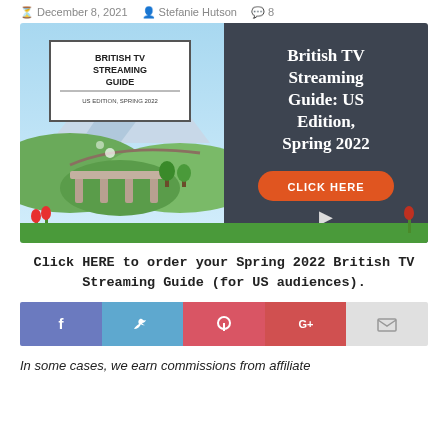December 8, 2021  Stefanie Hutson  8
[Figure (illustration): Advertisement for British TV Streaming Guide: US Edition, Spring 2022. Left half shows book cover with Scottish viaduct illustration and title 'BRITISH TV STREAMING GUIDE US EDITION, SPRING 2022'. Right half is dark gray with white bold text 'British TV Streaming Guide: US Edition, Spring 2022' and an orange 'CLICK HERE' button with a cursor icon.]
Click HERE to order your Spring 2022 British TV Streaming Guide (for US audiences).
[Figure (infographic): Social sharing bar with Facebook, Twitter, Pinterest, Google+, and email icons]
In some cases, we earn commissions from affiliate